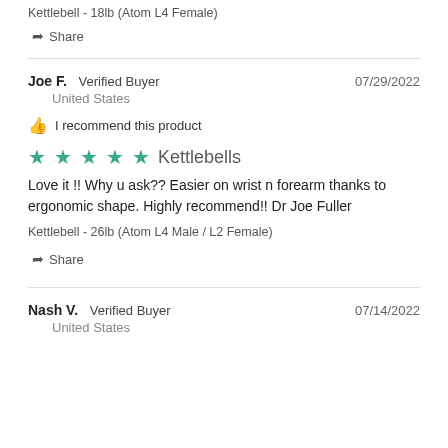Kettlebell - 18lb (Atom L4 Female)
Share
Joe F.  Verified Buyer  07/29/2022
United States
I recommend this product
Kettlebells
Love it !! Why u ask?? Easier on wrist n forearm thanks to ergonomic shape. Highly recommend!! Dr Joe Fuller
Kettlebell - 26lb (Atom L4 Male / L2 Female)
Share
Nash V.  Verified Buyer  07/14/2022
United States